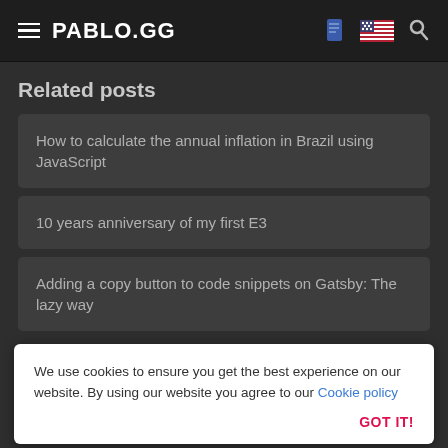PABLO.GG
Related posts
How to calculate the annual inflation in Brazil using JavaScript
10 years anniversary of my first E3
Adding a copy button to code snippets on Gatsby: The lazy way
Post a comment
We use cookies to ensure you get the best experience on our website. By using our website you agree to our Cookie policy
GOT IT!